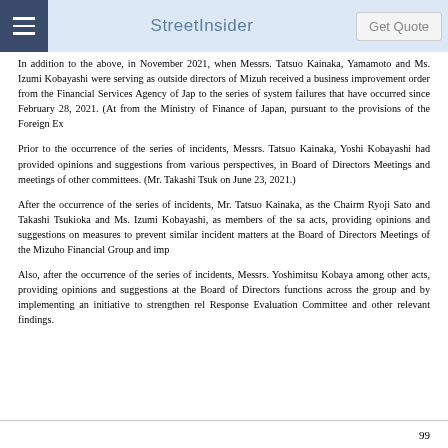StreetInsider
In addition to the above, in November 2021, when Messrs. Tatsuo Kainaka, Yamamoto and Ms. Izumi Kobayashi were serving as outside directors of Mizuho, received a business improvement order from the Financial Services Agency of Japan to the series of system failures that have occurred since February 28, 2021. (At from the Ministry of Finance of Japan, pursuant to the provisions of the Foreign Ex
Prior to the occurrence of the series of incidents, Messrs. Tatsuo Kainaka, Yoshi Kobayashi had provided opinions and suggestions from various perspectives, in Board of Directors Meetings and meetings of other committees. (Mr. Takashi Tsuk on June 23, 2021.)
After the occurrence of the series of incidents, Mr. Tatsuo Kainaka, as the Chairman Ryoji Sato and Takashi Tsukioka and Ms. Izumi Kobayashi, as members of the same acts, providing opinions and suggestions on measures to prevent similar incidents matters at the Board of Directors Meetings of the Mizuho Financial Group and imp
Also, after the occurrence of the series of incidents, Messrs. Yoshimitsu Kobaya among other acts, providing opinions and suggestions at the Board of Directors functions across the group and by implementing an initiative to strengthen rel Response Evaluation Committee and other relevant findings.
99